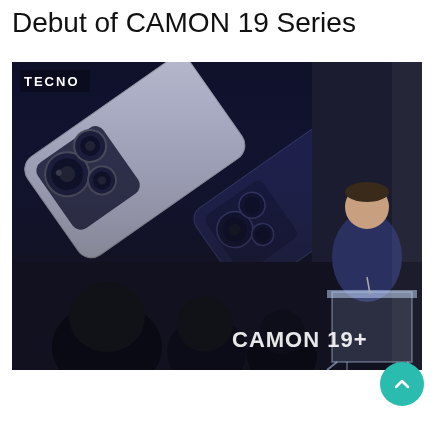Debut of CAMON 19 Series
[Figure (photo): A presenter standing at a clear glass podium speaks at a TECNO smartphone launch event. Behind him is a large screen displaying two CAMON 19 smartphones with visible camera modules. The bottom right of the screen shows the text 'CAMON 19+'. Audience members are visible in silhouette in the foreground.]